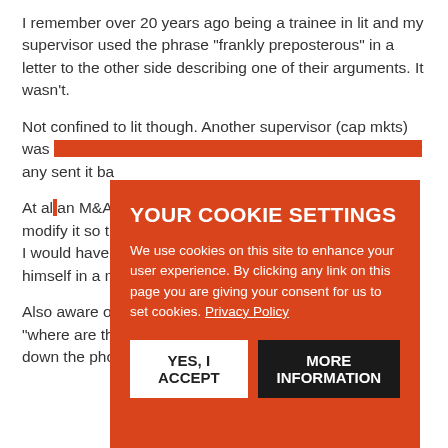I remember over 20 years ago being a trainee in lit and my supervisor used the phrase "frankly preposterous" in a letter to the other side describing one of their arguments.  It wasn't.
Not confined to lit though.  Another supervisor (cap mkts) was sent an offering circular by another MC firm asking for any [obscured by modal] sent it ba[obscured by modal]
At al[obscured] an M&A [obscured] intim[obscured] me dow[obscured] delib[obscured] teac[obscured] tone[obscured] m down and modify it so that we could have a productive discussion or I would have to end the call until he felt able to conduct himself in a more professional manner.
Also aware of a female partner who once screamed "where are the fvcking documents, you fvcking fvcker?" down the phone.
[Figure (other): Cookie consent modal overlay with orange background. Title: YOUR COOKIE SETTINGS. Body text: We use cookies on this site to enhance your user experience. By clicking any link on this page you are giving your consent for us to set cookies. Privacy Policy. Two buttons: YES, I ACCEPT (white button) and MORE INFORMATION (black button).]